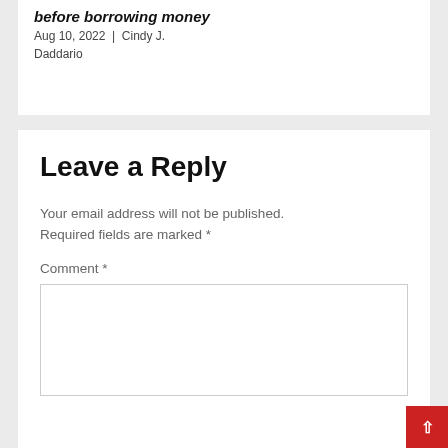before borrowing money
Aug 10, 2022 | Cindy J. Daddario
Leave a Reply
Your email address will not be published. Required fields are marked *
Comment *